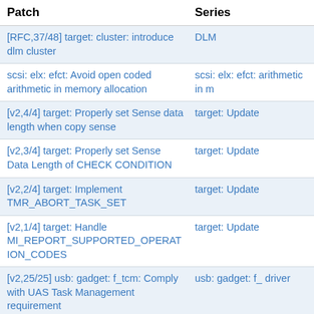| Patch | Series |
| --- | --- |
| [RFC,37/48] target: cluster: introduce dlm cluster | DLM |
| scsi: elx: efct: Avoid open coded arithmetic in memory allocation | scsi: elx: efct: arithmetic in m |
| [v2,4/4] target: Properly set Sense data length when copy sense | target: Update |
| [v2,3/4] target: Properly set Sense Data Length of CHECK CONDITION | target: Update |
| [v2,2/4] target: Implement TMR_ABORT_TASK_SET | target: Update |
| [v2,1/4] target: Handle MI_REPORT_SUPPORTED_OPERATION_CODES | target: Update |
| [v2,25/25] usb: gadget: f_tcm: Comply with UAS Task Management requirement | usb: gadget: f_ driver |
| [v2,24/25] usb: gadget: f_tcm: Check overlapped command | usb: gadget: f_ driver |
| [v2,23/25] usb: gadget: f_tcm: Handle TASK_MANAGEMENT commands | usb: gadget: f_ driver |
| [v2,22/25] usb: gadget: f_tcm: Send sense on cancelled transfer | usb: gadget: f_ driver |